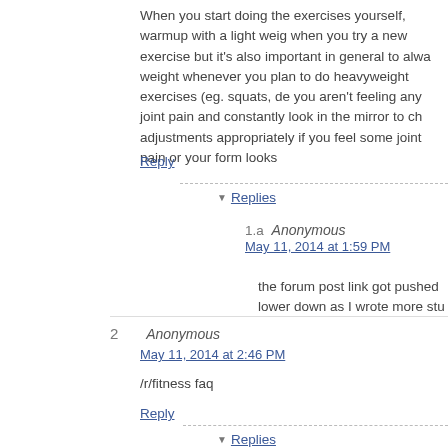When you start doing the exercises yourself, warmup with a light weig when you try a new exercise but it's also important in general to alwa weight whenever you plan to do heavyweight exercises (eg. squats, de you aren't feeling any joint pain and constantly look in the mirror to ch adjustments appropriately if you feel some joint pain or your form looks
Reply
▼ Replies
1.a  Anonymous
May 11, 2014 at 1:59 PM
the forum post link got pushed lower down as I wrote more stu
2  Anonymous
May 11, 2014 at 2:46 PM
/r/fitness faq
Reply
▼ Replies
2.a  Anonymous
May 11, 2014 at 4:00 PM
/fit/ and misc
3  Anonymous